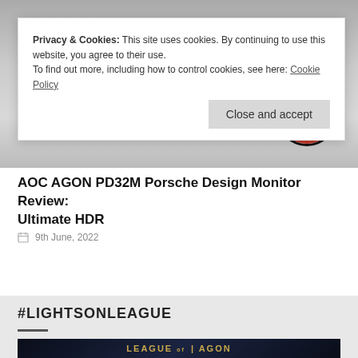Discuss & Complete PlayStation 5 Review: A Witty Game…
Privacy & Cookies: This site uses cookies. By continuing to use this website, you agree to their use.
To find out more, including how to control cookies, see here: Cookie Policy
[Figure (photo): AOC AGON PD32M monitor product image with dark background and circular red-ringed badge on the right side]
AOC AGON PD32M Porsche Design Monitor Review: Ultimate HDR
9th June, 2022
#LIGHTSONLEAGUE
[Figure (photo): League of AGON dark banner graphic with gold text and circuit board decorative elements]